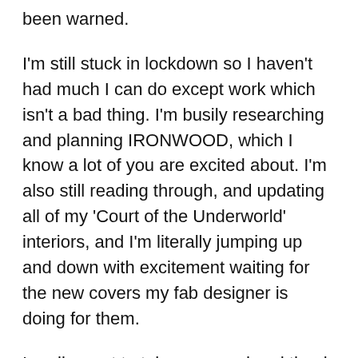been warned.
I'm still stuck in lockdown so I haven't had much I can do except work which isn't a bad thing. I'm busily researching and planning IRONWOOD, which I know a lot of you are excited about. I'm also still reading through, and updating all of my 'Court of the Underworld' interiors, and I'm literally jumping up and down with excitement waiting for the new covers my fab designer is doing for them.
I really want to take a second and thank you all again for supporting me and weird book kids. I'm going to be eternally grateful that you're willing to give them a chance and you are referring them to your mates and tagging me in posts on Instagram. I live for that shit, and it's pure feel goods for this lockdown writer.